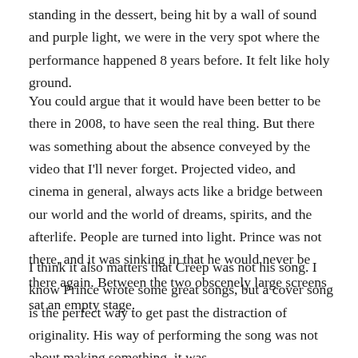standing in the dessert, being hit by a wall of sound and purple light, we were in the very spot where the performance happened 8 years before. It felt like holy ground.
You could argue that it would have been better to be there in 2008, to have seen the real thing. But there was something about the absence conveyed by the video that I'll never forget. Projected video, and cinema in general, always acts like a bridge between our world and the world of dreams, spirits, and the afterlife. People are turned into light. Prince was not there, and it was sinking in that he would never be there again. Between the two obscenely large screens sat an empty stage.
I think it also matters that Creep was not his song. I know Prince wrote some great songs, but a cover song is the perfect way to get past the distraction of originality. His way of performing the song was not about making something, it was